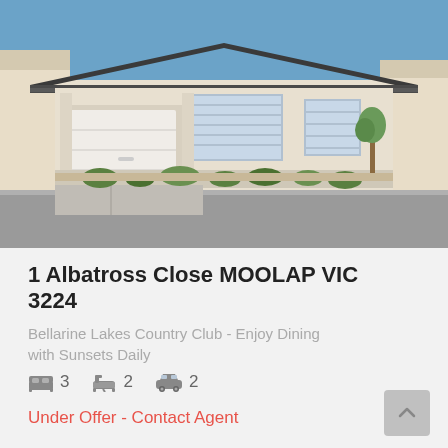[Figure (photo): Exterior photo of a modern single-story residential home with white/cream render walls, dark tile roof, double garage, landscaped garden with low shrubs and ornamental grasses, clear blue sky background, street view.]
1 Albatross Close MOOLAP VIC 3224
Bellarine Lakes Country Club - Enjoy Dining with Sunsets Daily
3 bedrooms, 2 bathrooms, 2 car spaces
Under Offer - Contact Agent